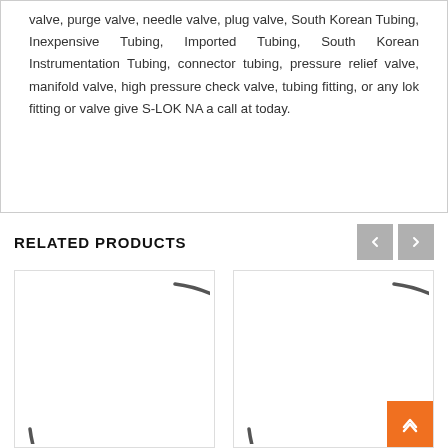valve, purge valve, needle valve, plug valve, South Korean Tubing, Inexpensive Tubing, Imported Tubing, South Korean Instrumentation Tubing, connector tubing, pressure relief valve, manifold valve, high pressure check valve, tubing fitting, or any lok fitting or valve give S-LOK NA a call at today.
RELATED PRODUCTS
[Figure (photo): Product image showing a circular arc/ring shape (loading spinner or product silhouette), left product card]
[Figure (photo): Product image showing a circular arc/ring shape (loading spinner or product silhouette), right product card]